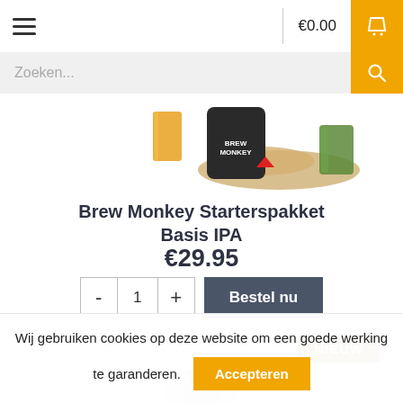€0.00
Zoeken...
[Figure (photo): Product photo of Brew Monkey Starterspakket Basis IPA showing brewing equipment, grains and a glass of beer]
Brew Monkey Starterspakket Basis IPA
€29.95
- 1 + Bestel nu
NIEUW
[Figure (photo): Partial view of another product image at bottom of page]
Wij gebruiken cookies op deze website om een goede werking te garanderen. Accepteren